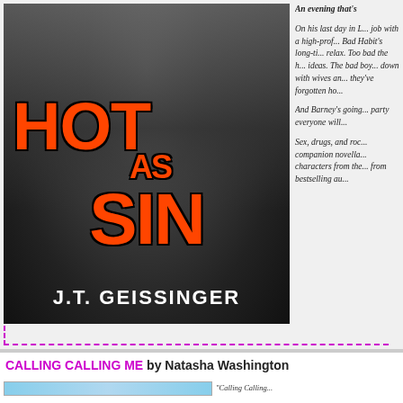[Figure (illustration): Book cover for 'Hot as Sin' by J.T. Geissinger showing a muscular man in a black t-shirt with orange grunge-style title text and the author's name at the bottom]
An evening that's
On his last day in L... job with a high-prof... Bad Habit's long-ti... relax. Too bad the h... ideas. The bad boy... down with wives an... they've forgotten ho...
And Barney's going... party everyone will...
Sex, drugs, and roc... companion novella... characters from the... from bestselling au...
CALLING CALLING ME by Natasha Washington
[Figure (illustration): Partial book cover image at bottom of page with light blue color]
"Calling Calling...